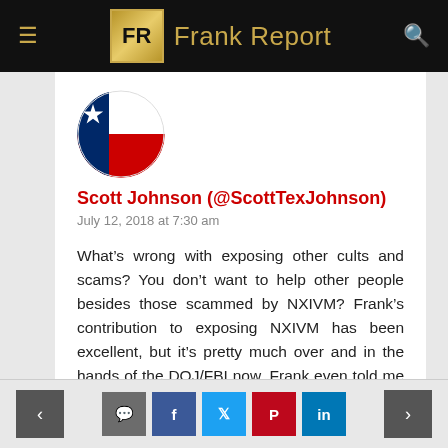Frank Report
[Figure (illustration): Texas state flag displayed as a circular avatar badge]
Scott Johnson (@ScottTexJohnson)
July 12, 2018 at 7:30 am
What’s wrong with exposing other cults and scams? You don’t want to help other people besides those scammed by NXIVM? Frank’s contribution to exposing NXIVM has been excellent, but it’s pretty much over and in the hands of the DOJ/FBI now. Frank even told me that, and told me he’s interested in exposing Amway next. He’s already exposed other scams, namely the Niagara Falls cruise boat